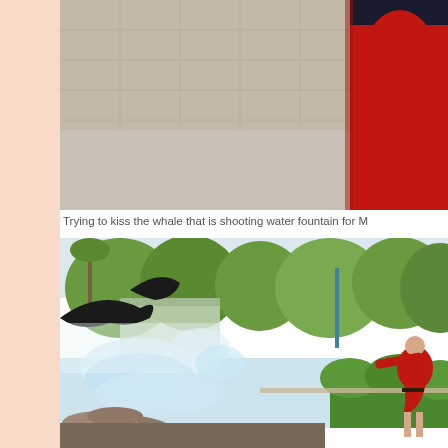[Figure (photo): Person in red dress near a large sculpture, viewed from behind, standing on a paved area]
Trying to kiss the whale that is shooting water fountain for M
[Figure (photo): Woman in red dress posing near a whale sculpture fountain in a park with lush greenery, waterfalls and mist in the background]